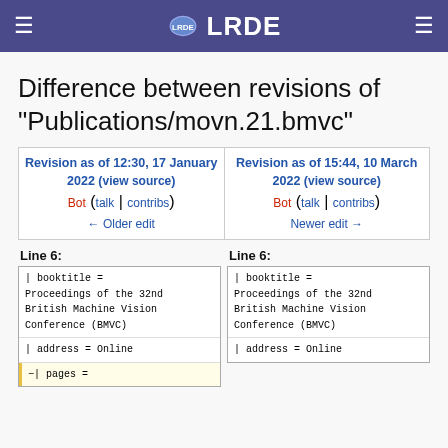LRDE
Difference between revisions of "Publications/movn.21.bmvc"
| Revision as of 12:30, 17 January 2022 (view source) | Revision as of 15:44, 10 March 2022 (view source) |
| --- | --- |
| Bot (talk | contribs)
← Older edit | Bot (talk | contribs)
Newer edit → |
Line 6:
Line 6:
| booktitle =
Proceedings of the 32nd
British Machine Vision
Conference (BMVC)
| booktitle =
Proceedings of the 32nd
British Machine Vision
Conference (BMVC)
| address = Online
| address = Online
−| pages =